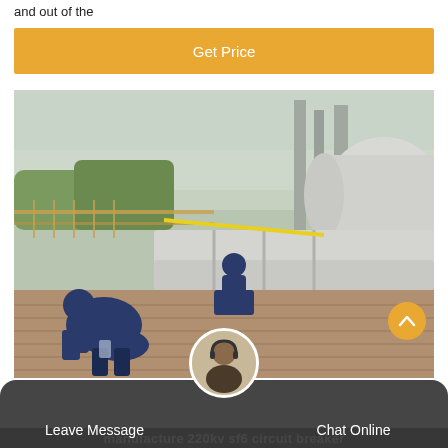and out of the
[Figure (other): Orange 'Get Price' button]
[Figure (photo): Workers in blue coveralls performing maintenance or installation work on large industrial pipes/equipment at an outdoor substation or industrial facility. Large white cylindrical vessels visible in the background.]
Leave Message   Chat Online
manufacture 220kv sf6 circuit breaker